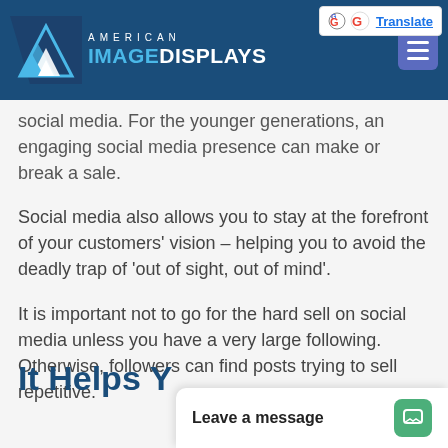American Image Displays
social media. For the younger generations, an engaging social media presence can make or break a sale.
Social media also allows you to stay at the forefront of your customers' vision – helping you to avoid the deadly trap of 'out of sight, out of mind'.
It is important not to go for the hard sell on social media unless you have a very large following. Otherwise, followers can find posts trying to sell repetitive.
It Helps Y...
Leave a message